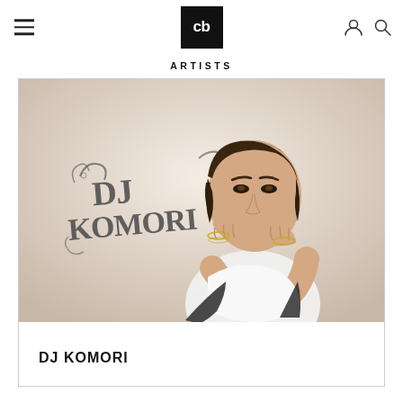cb (Crunchybase logo) — hamburger menu, user icon, search icon
ARTISTS
[Figure (photo): Photo of DJ Komori: young Asian man in white sleeveless shirt seated with hands under chin, bracelets on wrists, with 'DJ KOMORI' decorative text in background]
DJ KOMORI